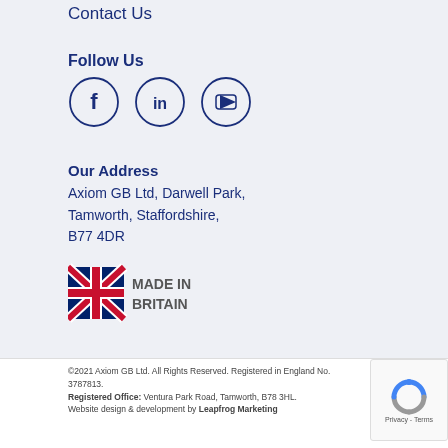Contact Us
Follow Us
[Figure (illustration): Three circular social media icons for Facebook (f), LinkedIn (in), and YouTube (play button), outlined in dark blue.]
Our Address
Axiom GB Ltd, Darwell Park, Tamworth, Staffordshire, B77 4DR
[Figure (logo): Made in Britain logo with Union Jack flag and bold grey text 'MADE IN BRITAIN']
©2021 Axiom GB Ltd. All Rights Reserved. Registered in England No. 3787813. Registered Office: Ventura Park Road, Tamworth, B78 3HL. Website design & development by Leapfrog Marketing